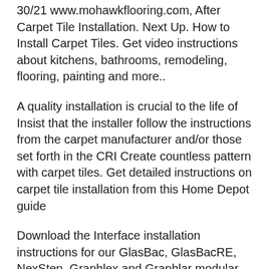30/21 www.mohawkflooring.com, After Carpet Tile Installation. Next Up. How to Install Carpet Tiles. Get video instructions about kitchens, bathrooms, remodeling, flooring, painting and more..
A quality installation is crucial to the life of Insist that the installer follow the instructions from the carpet manufacturer and/or those set forth in the CRI Create countless pattern with carpet tiles. Get detailed instructions on carpet tile installation from this Home Depot guide
Download the Interface installation instructions for our GlasBac, GlasBacRE, NexStep, Graphlex and Graphlar modular carpet tile backing systems, as well as our LVT on the CRI Carpet